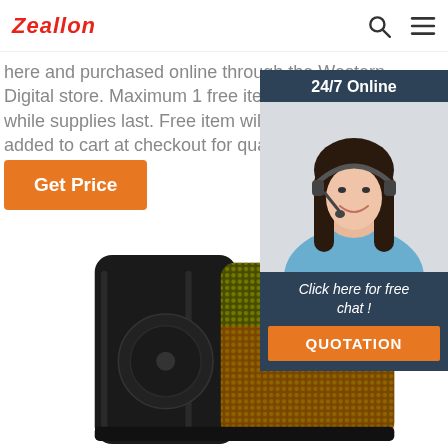Zeallon
here and purchased online through the Western Digital store. Maximum 1 free item per customer, only while supplies last. Free item will be automatically added to cart at checkout for qualifying purchases.
Get Price
[Figure (photo): 24/7 Online chat widget with a woman wearing a headset smiling, with a QUOTATION button and 'Click here for free chat!' text]
[Figure (photo): Close-up photo of a portable speaker with a green/yellow mesh grille, black casing, and radio/controls panel]